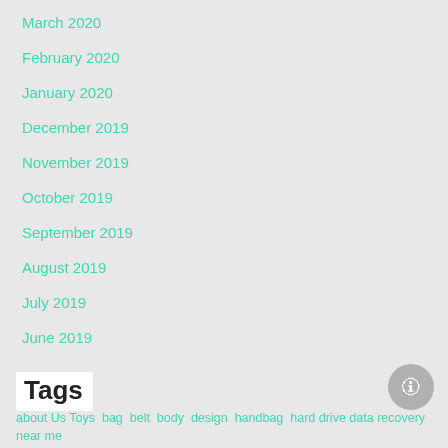March 2020
February 2020
January 2020
December 2019
November 2019
October 2019
September 2019
August 2019
July 2019
June 2019
Tags
about Us Toys bag belt body design handbag hard drive data recovery near me outlet quality shop style the factory outlet store